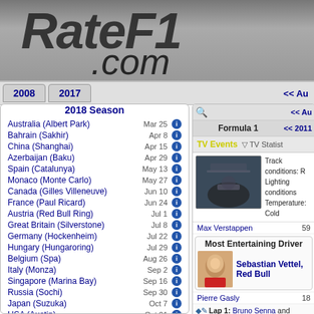[Figure (screenshot): RateF1.com logo on grey background]
2008  2017  << Au
2018 Season
Australia (Albert Park) Mar 25
Bahrain (Sakhir) Apr 8
China (Shanghai) Apr 15
Azerbaijan (Baku) Apr 29
Spain (Catalunya) May 13
Monaco (Monte Carlo) May 27
Canada (Gilles Villeneuve) Jun 10
France (Paul Ricard) Jun 24
Austria (Red Bull Ring) Jul 1
Great Britain (Silverstone) Jul 8
Germany (Hockenheim) Jul 22
Hungary (Hungaroring) Jul 29
Belgium (Spa) Aug 26
Italy (Monza) Sep 2
Singapore (Marina Bay) Sep 16
Russia (Sochi) Sep 30
Japan (Suzuka) Oct 7
USA (Austin) Oct 21
Mexico (Hermanos Rodriguez) Oct 28
Formula 1  << 2011
TV Events  TV Statistics
Track conditions: R
Lighting conditions:
Temperature: Cold
Max Verstappen  59
Most Entertaining Driver
Sebastian Vettel, Red Bull
Pierre Gasly  18
Lap 1: Bruno Senna and Sebastia
Lap 1: Sebastian Vettel spins but
Lap 1: Sergio Pérez, Bruno Senn
Lap 1: Sebastian Vettel has...